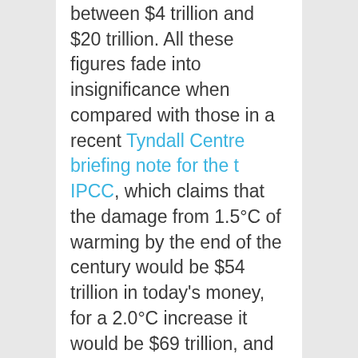between $4 trillion and $20 trillion. All these figures fade into insignificance when compared with those in a recent Tyndall Centre briefing note for the t IPCC, which claims that the damage from 1.5°C of warming by the end of the century would be $54 trillion in today's money, for a 2.0°C increase it would be $69 trillion, and a 3.7°C increase a stunning $551 trillion – more than all the wealth and assets in existence today.